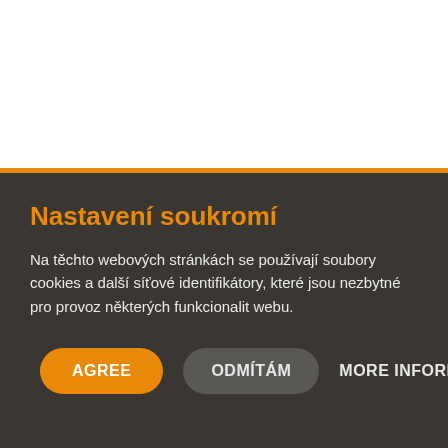Nastavení soukromí
Na těchto webových stránkách se používají soubory cookies a další síťové identifikátory, které jsou nezbytné pro provoz některých funkcionalit webu.
AGREE | ODMÍTÁM | MORE INFORMATION